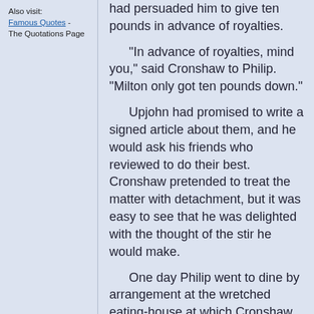Also visit: Famous Quotes - The Quotations Page
had persuaded him to give ten pounds in advance of royalties.
"In advance of royalties, mind you," said Cronshaw to Philip. "Milton only got ten pounds down."
Upjohn had promised to write a signed article about them, and he would ask his friends who reviewed to do their best. Cronshaw pretended to treat the matter with detachment, but it was easy to see that he was delighted with the thought of the stir he would make.
One day Philip went to dine by arrangement at the wretched eating-house at which Cronshaw insisted on taking his meals, but Cronshaw did not appear. Philip learned that he had not been there for three days. He got